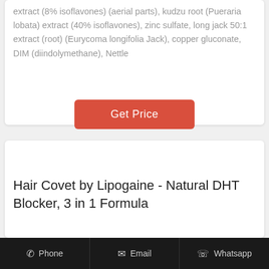extract (8% isoflavones) (aerial parts), kudzu root (Pueraria lobata) extract (40% isoflavones), zinc sulfate, long jack 50:1 extract (root) (Eurycoma longifolia Jack), copper gluconate, DIM (diindolymethane), Nettle
Get Price
Hair Covet by Lipogaine - Natural DHT Blocker, 3 in 1 Formula
Phone | Email | Whatsapp